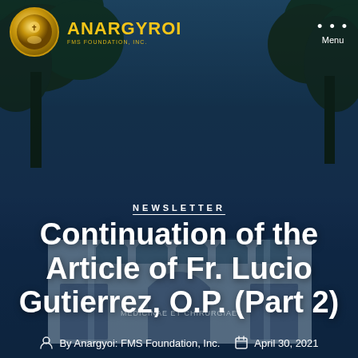ANARGYROI — FMS Foundation, Inc.
NEWSLETTER
Continuation of the Article of Fr. Lucio Gutierrez, O.P. (Part 2)
By Anargyoi: FMS Foundation, Inc.   April 30, 2021